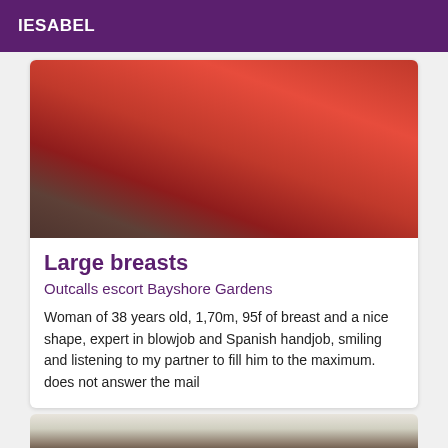IESABEL
[Figure (photo): Woman in red dress doing a plank pose on bathroom floor]
Large breasts
Outcalls escort Bayshore Gardens
Woman of 38 years old, 1,70m, 95f of breast and a nice shape, expert in blowjob and Spanish handjob, smiling and listening to my partner to fill him to the maximum. does not answer the mail
[Figure (photo): Partial view of person in black lace lingerie]